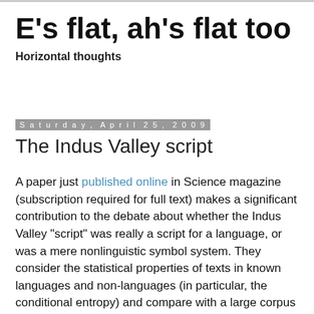E's flat, ah's flat too
E's flat, ah's flat too
Horizontal thoughts
Saturday, April 25, 2009
The Indus Valley script
A paper just published online in Science magazine (subscription required for full text) makes a significant contribution to the debate about whether the Indus Valley "script" was really a script for a language, or was a mere nonlinguistic symbol system. They consider the statistical properties of texts in known languages and non-languages (in particular, the conditional entropy) and compare with a large corpus of Indus Valley text. The conclusion is that the Indus Valley symbols indeed encode a language. It looks extremely convincing. Now the task remains to decode the thing.